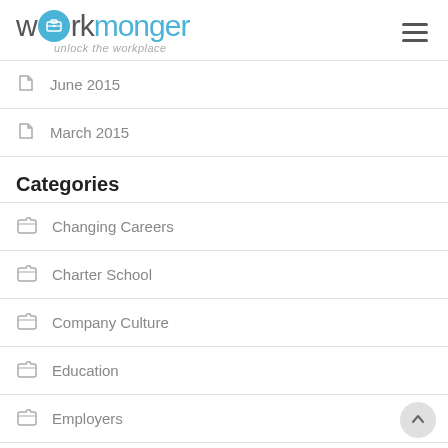workmonger — unlock the workplace
June 2015
March 2015
Categories
Changing Careers
Charter School
Company Culture
Education
Employers